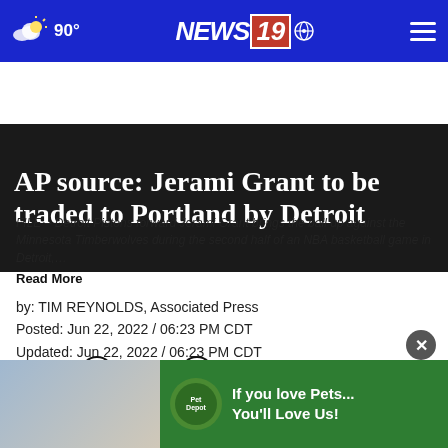90° NEWS 19
AP source: Jerami Grant to be traded to Portland by Detroit
FILE – Detroit Pistons forward Jerami Grant brings the ball up against the Minnesota Timberwolves during the second half of an NBA basketball game in Detroit,…
Read More
by: TIM REYNOLDS, Associated Press
Posted: Jun 22, 2022 / 06:23 PM CDT
Updated: Jun 22, 2022 / 06:23 PM CDT
SHARE
A perso... the Detroit Pistons have agreed to trade Olympic gold
[Figure (other): Pet Depot advertisement: If you love Pets... You'll Love Us!]